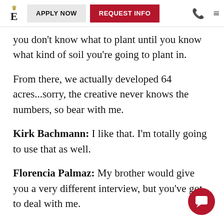E | APPLY NOW | REQUEST INFO
you don't know what to plant until you know what kind of soil you're going to plant in.
From there, we actually developed 64 acres...sorry, the creative never knows the numbers, so bear with me.
Kirk Bachmann: I like that. I'm totally going to use that as well.
Florencia Palmaz: My brother would give you a very different interview, but you've got to deal with me.